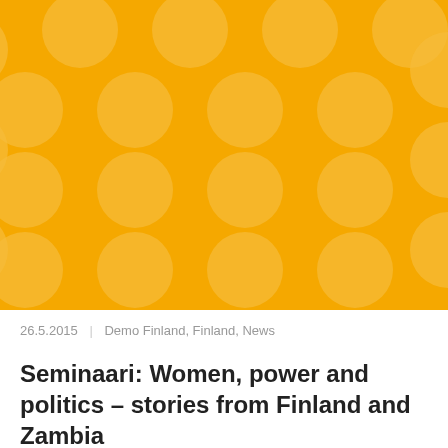[Figure (illustration): Orange/amber background with a diagonal polka dot pattern of lighter orange circles, forming a decorative cover image.]
26.5.2015  |  Demo Finland, Finland, News
Seminaari: Women, power and politics – stories from Finland and Zambia